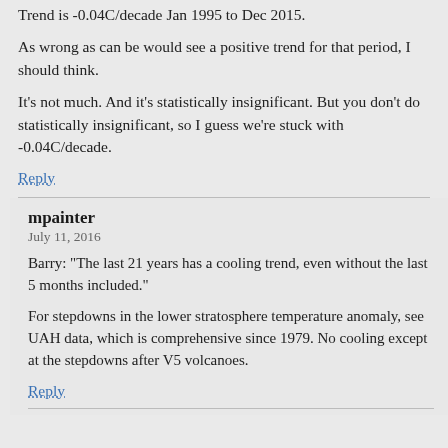Trend is -0.04C/decade Jan 1995 to Dec 2015.
As wrong as can be would see a positive trend for that period, I should think.
It’s not much. And it’s statistically insignificant. But you don’t do statistically insignificant, so I guess we’re stuck with -0.04C/decade.
Reply
mpainter
July 11, 2016
Barry: “The last 21 years has a cooling trend, even without the last 5 months included.”
For stepdowns in the lower stratosphere temperature anomaly, see UAH data, which is comprehensive since 1979. No cooling except at the stepdowns after V5 volcanoes.
Reply